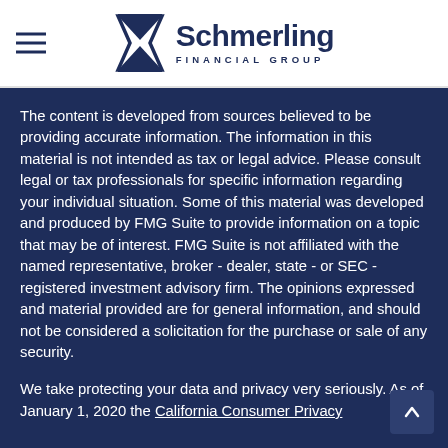Schmerling Financial Group
The content is developed from sources believed to be providing accurate information. The information in this material is not intended as tax or legal advice. Please consult legal or tax professionals for specific information regarding your individual situation. Some of this material was developed and produced by FMG Suite to provide information on a topic that may be of interest. FMG Suite is not affiliated with the named representative, broker - dealer, state - or SEC - registered investment advisory firm. The opinions expressed and material provided are for general information, and should not be considered a solicitation for the purchase or sale of any security.
We take protecting your data and privacy very seriously. As of January 1, 2020 the California Consumer Privacy